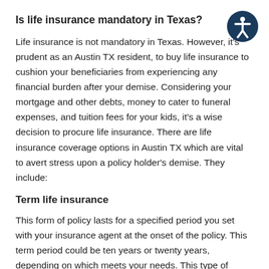Is life insurance mandatory in Texas?
Life insurance is not mandatory in Texas. However, it's prudent as an Austin TX resident, to buy life insurance to cushion your beneficiaries from experiencing any financial burden after your demise. Considering your mortgage and other debts, money to cater to funeral expenses, and tuition fees for your kids, it's a wise decision to procure life insurance. There are life insurance coverage options in Austin TX which are vital to avert stress upon a policy holder's demise. They include:
Term life insurance
This form of policy lasts for a specified period you set with your insurance agent at the onset of the policy. This term period could be ten years or twenty years, depending on which meets your needs. This type of policy comes to a halt at the end of whatever period you choose, but there